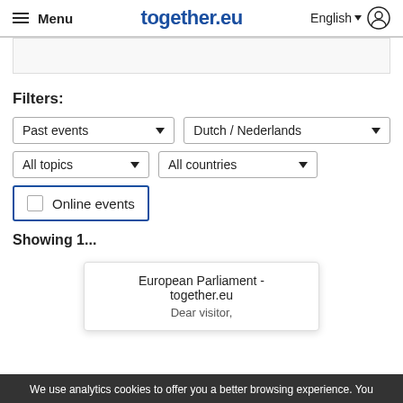Menu | together.eu | English
Filters:
Past events
Dutch / Nederlands
All topics
All countries
Online events
Showing 1...
European Parliament - together.eu
Dear visitor,
We use analytics cookies to offer you a better browsing experience. You